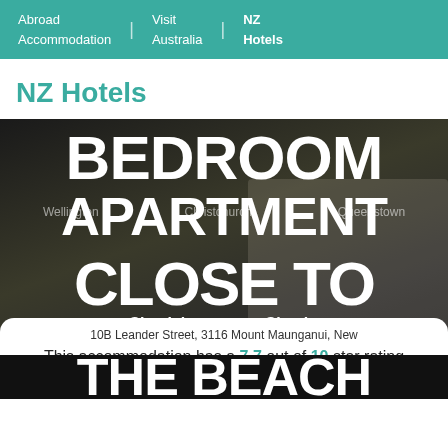Abroad Accommodation | Visit Australia | NZ Hotels
NZ Hotels
[Figure (photo): Hotel exterior photo with large text overlay reading BEDROOM APARTMENT CLOSE TO, city navigation links (Wellington, Christchurch, Queenstown), check-in/check-out info (6:00 PM-10:00 PM / Until 10:00 AM), star rating row, white card showing address 10B Leander Street 3116 Mount Maunganui New Zealand, rating 7.7 out of 10 based on 3 reviews, and bottom text THE BEACH]
10B Leander Street, 3116 Mount Maunganui, New Zealand
This accommodation has a 7.7 out of 10 star rating based on 3 reviews